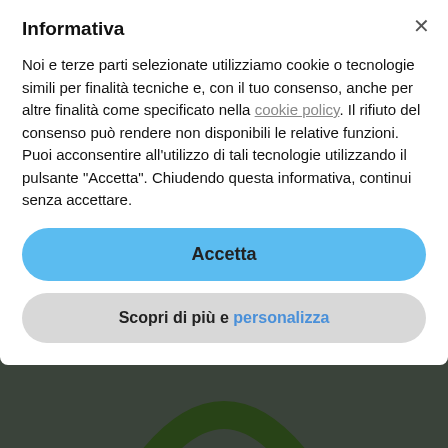[Figure (screenshot): Background webpage showing navigation bar with Home, Discover Florence, Histor... links and a blurred/overlaid page about Boboli Garden with large heading text and a green arc graphic]
Informativa
Noi e terze parti selezionate utilizziamo cookie o tecnologie simili per finalità tecniche e, con il tuo consenso, anche per altre finalità come specificato nella cookie policy. Il rifiuto del consenso può rendere non disponibili le relative funzioni.
Puoi acconsentire all'utilizzo di tali tecnologie utilizzando il pulsante "Accetta". Chiudendo questa informativa, continui senza accettare.
Accetta
Scopri di più e personalizza
Classical and modern statuary collection in Boboli garden tells us something about XVI century life!
Boboli is not only Eleonora's garden the green area the grand duchess renovated from 1550s; in fact a lot of